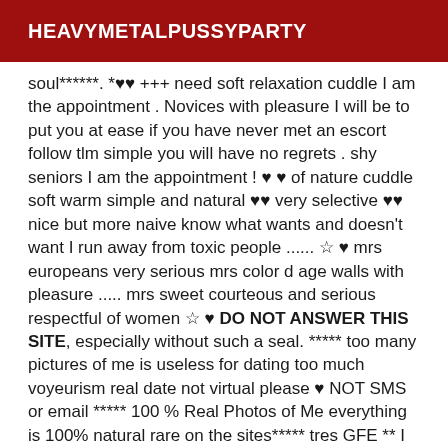HEAVYMETALPUSSYPARTY
soul******. *♥♥ +++ need soft relaxation cuddle I am the appointment . Novices with pleasure I will be to put you at ease if you have never met an escort follow tlm simple you will have no regrets . shy seniors I am the appointment ! ♥ ♥ of nature cuddle soft warm simple and natural ♥♥ very selective ♥♥ nice but more naive know what wants and doesn't want I run away from toxic people ...... ☆ ♥ mrs europeans very serious mrs color d age walls with pleasure ..... mrs sweet courteous and serious respectful of women ☆ ♥ DO NOT ANSWER THIS SITE, especially without such a seal. ***** too many pictures of me is useless for dating too much voyeurism real date not virtual please ♥ NOT SMS or email ***** 100 % Real Photos of Me everything is 100% natural rare on the sites***** tres GFE ** I Receive in Private Frame ** Discretion and Hygiene Hello I am a real and beautiful natural Franco-Italian woman round and firm with an opulent natural breast. TP 140l RARE